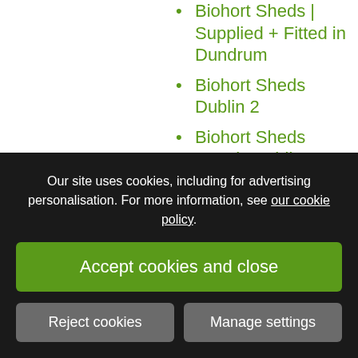Biohort Sheds | Supplied + Fitted in Dundrum
Biohort Sheds Dublin 2
Biohort Sheds Dunshaughlin
Biohort Sheds Fitted in Co Meath
Biohort Sheds supplied + fitted in ...
Our site uses cookies, including for advertising personalisation. For more information, see our cookie policy.
Accept cookies and close
Reject cookies
Manage settings